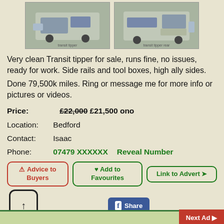[Figure (photo): Two photos of a Ford Transit tipper van, side by side. Left photo shows front-side view, right photo shows rear-side view with tipper body.]
Very clean Transit tipper for sale, runs fine, no issues, ready for work. Side rails and tool boxes, high ally sides.
Done 79,500k miles. Ring or message me for more info or pictures or videos.
Price: £22,000 £21,500 ono
Location: Bedford
Contact: Isaac
Phone: 07479 XXXXXX  Reveal Number
⚠ Advice to Buyers | ♥ Add to Favourites | Link to Advert ➡
f Share